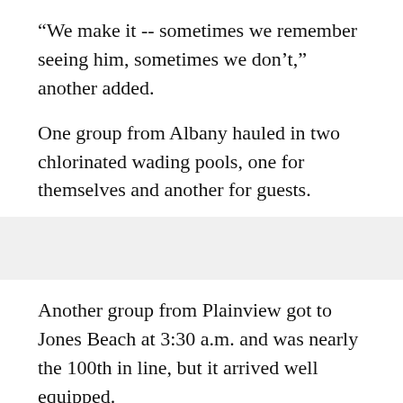"We make it -- sometimes we remember seeing him, sometimes we don't," another added.
One group from Albany hauled in two chlorinated wading pools, one for themselves and another for guests.
Another group from Plainview got to Jones Beach at 3:30 a.m. and was nearly the 100th in line, but it arrived well equipped.
"We have four tents, a camper, a box truck, two cars," one woman said. "We hire a chef."
The rite of summer has become more than an annual